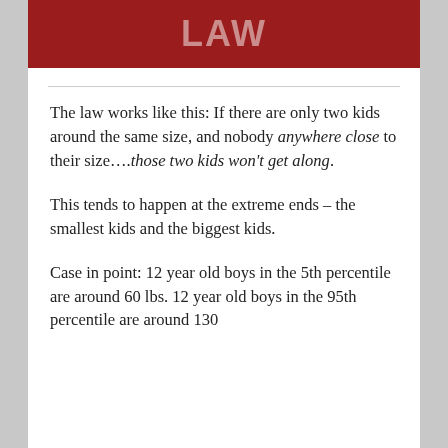[Figure (illustration): Red banner with white/light text reading 'LAW' in large bold letters, partial text visible above]
The law works like this:  If there are only two kids around the same size, and nobody anywhere close to their size….those two kids won't get along.
This tends to happen at the extreme ends – the smallest kids and the biggest kids.
Case in point:  12 year old boys in the 5th percentile are around 60 lbs.  12 year old boys in the 95th percentile are around 130